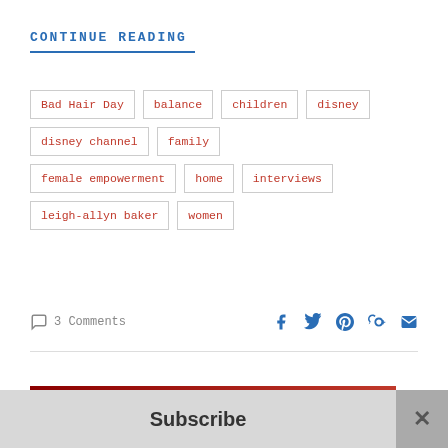CONTINUE READING
Bad Hair Day
balance
children
disney
disney channel
family
female empowerment
home
interviews
leigh-allyn baker
women
3 Comments
Subscribe